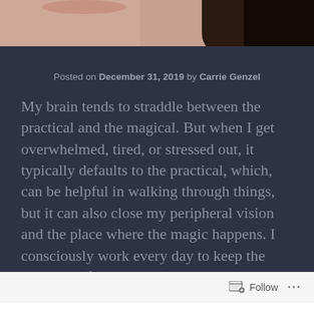[Figure (photo): Partial photograph of a person's face/neck area with dark hair visible on the right side, fading into a dark background]
Posted on December 31, 2019 by Carrie Genzel
My brain tends to straddle between the practical and the magical. But when I get overwhelmed, tired, or stressed out, it typically defaults to the practical, which, can be helpful in walking through things, but it can also close my peripheral vision and the place where the magic happens. I consciously work every day to keep the channels of possibility open in my mind, to leave room for the unknown and channel my positive energy to that place, because the truth is, I
Follow ...